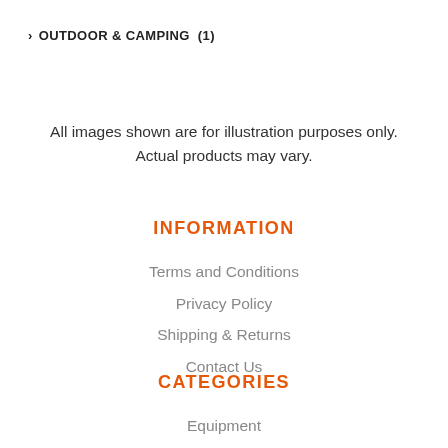> OUTDOOR & CAMPING  (1)
All images shown are for illustration purposes only. Actual products may vary.
INFORMATION
Terms and Conditions
Privacy Policy
Shipping & Returns
Contact Us
CATEGORIES
Equipment
Tractors
Zero-Turn Mowers
Blowers